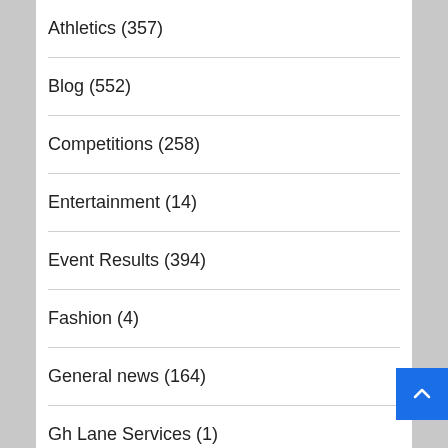Athletics (357)
Blog (552)
Competitions (258)
Entertainment (14)
Event Results (394)
Fashion (4)
General news (164)
Gh Lane Services (1)
Health (33)